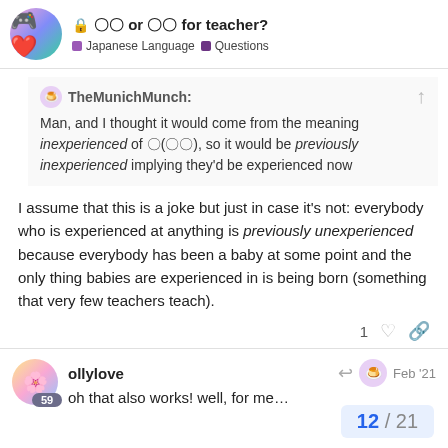🔒 〇〇 or 〇〇 for teacher? | Japanese Language | Questions
TheMunichMunch: Man, and I thought it would come from the meaning inexperienced of 〇(〇〇), so it would be previously inexperienced implying they'd be experienced now
I assume that this is a joke but just in case it's not: everybody who is experienced at anything is previously unexperienced because everybody has been a baby at some point and the only thing babies are experienced in is being born (something that very few teachers teach).
1 ♡ 🔗
ollylove  Feb '21
oh that also works! well, for me…
12 / 21